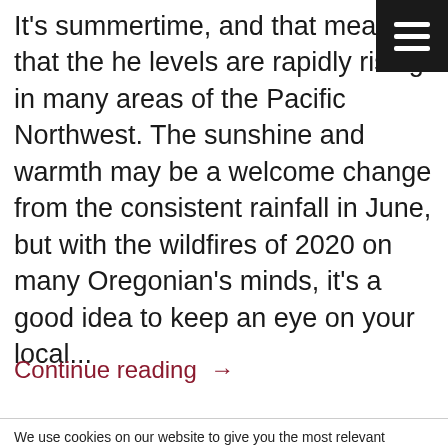It's summertime, and that means that the he levels are rapidly rising in many areas of the Pacific Northwest. The sunshine and warmth may be a welcome change from the consistent rainfall in June, but with the wildfires of 2020 on many Oregonian's minds, it's a good idea to keep an eye on your local...
Continue reading →
We use cookies on our website to give you the most relevant experience by remembering your preferences and repeat visits. By clicking "Accept", you consent to the use of ALL the cookies.
Cookie settings  ACCEPT